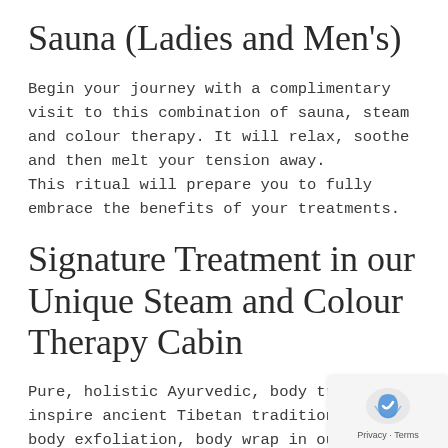Sauna (Ladies and Men's)
Begin your journey with a complimentary visit to this combination of sauna, steam and colour therapy. It will relax, soothe and then melt your tension away.
This ritual will prepare you to fully embrace the benefits of your treatments.
Signature Treatment in our Unique Steam and Colour Therapy Cabin
Pure, holistic Ayurvedic, body treatments inspire ancient Tibetan traditions. Total body exfoliation, body wrap in our unique steam bed,